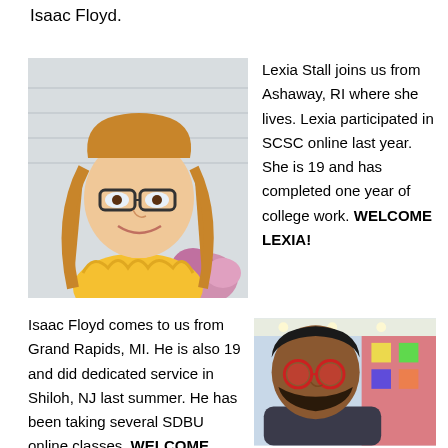Isaac Floyd.
[Figure (photo): Photo of Lexia Stall, a young woman with long reddish-blonde hair and glasses, wearing a yellow ruffled top, smiling, with flowers in the background.]
Lexia Stall joins us from Ashaway, RI where she lives. Lexia participated in SCSC online last year. She is 19 and has completed one year of college work. WELCOME LEXIA!
Isaac Floyd comes to us from Grand Rapids, MI. He is also 19 and did dedicated service in Shiloh, NJ last summer. He has been taking several SDBU online classes. WELCOME
[Figure (photo): Photo of Isaac Floyd, a young man with dark hair and beard wearing red round sunglasses, indoors with colorful background.]